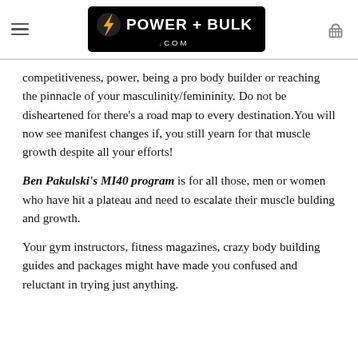POWER + BULK .COM
competitiveness, power, being a pro body builder or reaching the pinnacle of your masculinity/femininity. Do not be disheartened for there’s a road map to every destination.You will now see manifest changes if, you still yearn for that muscle growth despite all your efforts!
Ben Pakulski’s MI40 program is for all those, men or women who have hit a plateau and need to escalate their muscle bulding and growth.
Your gym instructors, fitness magazines, crazy body building guides and packages might have made you confused and reluctant in trying just anything.